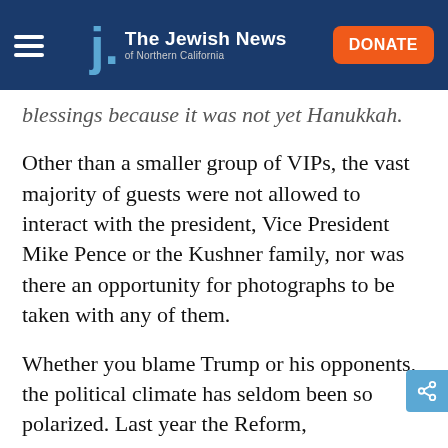The Jewish News of Northern California
blessings because it was not yet Hanukkah.
Other than a smaller group of VIPs, the vast majority of guests were not allowed to interact with the president, Vice President Mike Pence or the Kushner family, nor was there an opportunity for photographs to be taken with any of them.
Whether you blame Trump or his opponents, the political climate has seldom been so polarized. Last year the Reform, Reconstructionist and Conservative movements debated whether they should help organize a pre-Rosh Hashanah conference call with Trump. When they declined to participate, it became front-page national news.